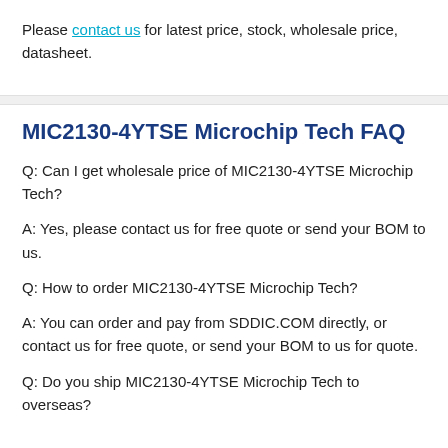Please contact us for latest price, stock, wholesale price, datasheet.
MIC2130-4YTSE Microchip Tech FAQ
Q: Can I get wholesale price of MIC2130-4YTSE Microchip Tech?
A: Yes, please contact us for free quote or send your BOM to us.
Q: How to order MIC2130-4YTSE Microchip Tech?
A: You can order and pay from SDDIC.COM directly, or contact us for free quote, or send your BOM to us for quote.
Q: Do you ship MIC2130-4YTSE Microchip Tech to overseas?